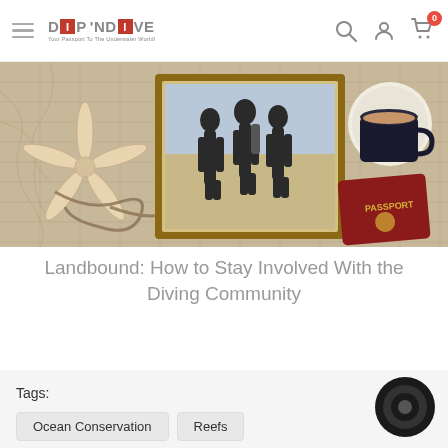DIP 'N DIVE — Your Passport To The Underwater World!
[Figure (photo): Hero banner image showing a flat-lay of dive equipment, maps, a starfish, ropes, a framed photo of divers in wetsuits, a coffee cup, and a passport on a map background.]
Landbound: How to Stay Involved With the Diving Community
Tags:
Ocean Conservation
Reefs